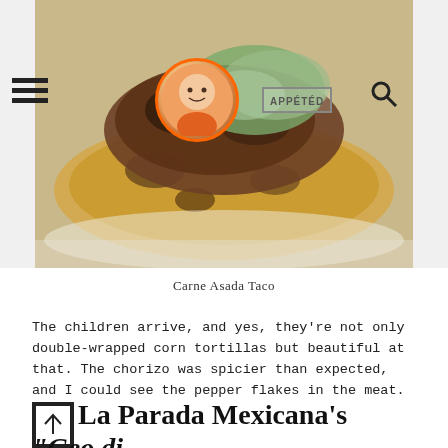[Figure (photo): Close-up photo of a Carne Asada Taco with a corn tortilla, grilled meat, and green toppings on a white plate. App header overlay with hamburger menu, circular profile photo, logo, and search icon.]
Carne Asada Taco
The children arrive, and yes, they're not only double-wrapped corn tortillas but beautiful at that. The chorizo was spicier than expected, and I could see the pepper flakes in the meat.
La Parada Mexicana's